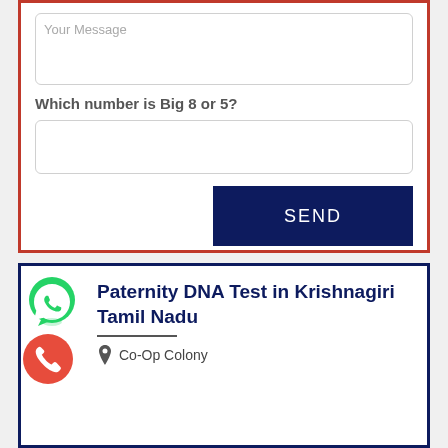Your Message
Which number is Big 8 or 5?
SEND
Paternity DNA Test in Krishnagiri Tamil Nadu
Co-Op Colony